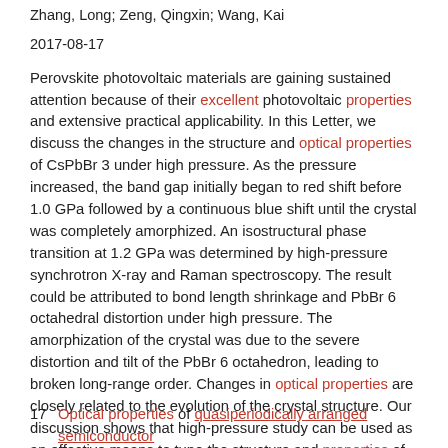Zhang, Long; Zeng, Qingxin; Wang, Kai
2017-08-17
Perovskite photovoltaic materials are gaining sustained attention because of their excellent photovoltaic properties and extensive practical applicability. In this Letter, we discuss the changes in the structure and optical properties of CsPbBr 3 under high pressure. As the pressure increased, the band gap initially began to red shift before 1.0 GPa followed by a continuous blue shift until the crystal was completely amorphized. An isostructural phase transition at 1.2 GPa was determined by high-pressure synchrotron X-ray and Raman spectroscopy. The result could be attributed to bond length shrinkage and PbBr 6 octahedral distortion under high pressure. The amorphization of the crystal was due to the severe distortion and tilt of the PbBr 6 octahedron, leading to broken long-range order. Changes in optical properties are closely related to the evolution of the crystal structure. Our discussion shows that high-pressure study can be used as an effective means to tune the structure and properties of all-inorganic halide perovskites.
17  Optical properties of quasiperiodically arranged semiconductor...